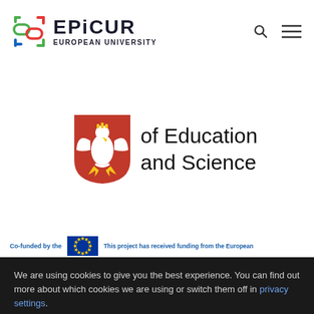[Figure (logo): EPICUR European University logo with colorful interlocking symbol and bold text]
[Figure (logo): Polish Ministry of Education and Science logo: white eagle on red shield, with text 'of Education and Science']
[Figure (logo): EU flag - blue rectangle with yellow stars]
Co-funded by the
This project has received funding from the European
We are using cookies to give you the best experience. You can find out more about which cookies we are using or switch them off in privacy settings.
Accept
Privacy Settings